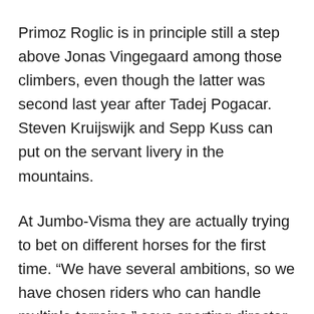Primoz Roglic is in principle still a step above Jonas Vingegaard among those climbers, even though the latter was second last year after Tadej Pogacar. Steven Kruijswijk and Sepp Kuss can put on the servant livery in the mountains.
At Jumbo-Visma they are actually trying to bet on different horses for the first time. “We have several ambitions, so we have chosen riders who can handle multiple terrains,” says sporting director Merijn Zeeman.